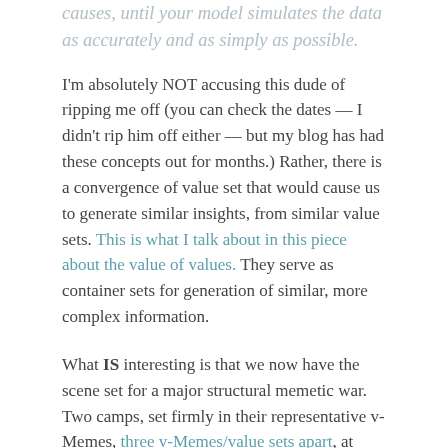causes, until your model simulates the data as accurately and as simply as possible.
I'm absolutely NOT accusing this dude of ripping me off (you can check the dates — I didn't rip him off either — but my blog has had these concepts out for months.) Rather, there is a convergence of value set that would cause us to generate similar insights, from similar value sets. This is what I talk about in this piece about the value of values. They serve as container sets for generation of similar, more complex information.
What IS interesting is that we now have the scene set for a major structural memetic war. Two camps, set firmly in their representative v-Memes, three v-Memes/value sets apart, at least tool-wise, aren't